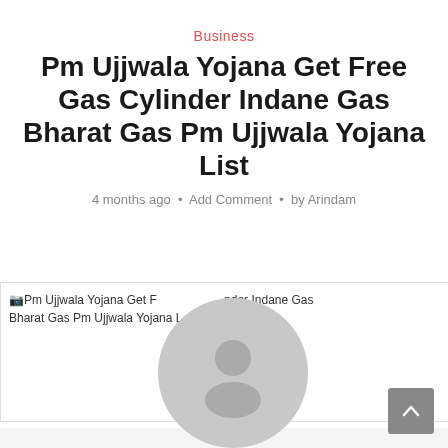Business
Pm Ujjwala Yojana Get Free Gas Cylinder Indane Gas Bharat Gas Pm Ujjwala Yojana List
4 months ago • Add Comment • by Arindam
[Figure (photo): Broken image placeholder for Pm Ujjwala Yojana Get Free Gas Cylinder Indane Gas Bharat Gas Pm Ujjwala Yojana List article image, partially obscured by a user avatar popup overlay]
[Figure (illustration): Gray circular user avatar popup with a person silhouette icon, overlaid on the article image. Has a close (×) button.]